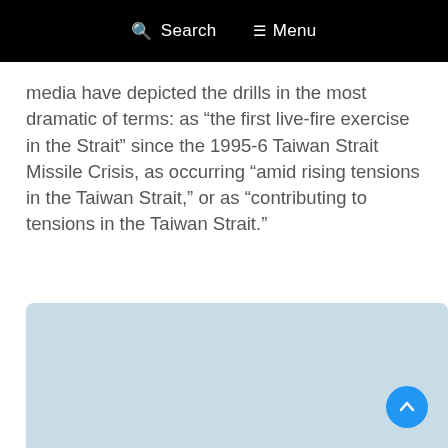Search   Menu
media have depicted the drills in the most dramatic of terms: as “the first live-fire exercise in the Strait” since the 1995-6 Taiwan Strait Missile Crisis, as occurring “amid rising tensions in the Taiwan Strait,” or as “contributing to tensions in the Taiwan Strait.”
[Figure (other): Light blue rectangular placeholder box with a circular blue scroll-to-top button in the bottom-right corner containing an upward chevron arrow.]